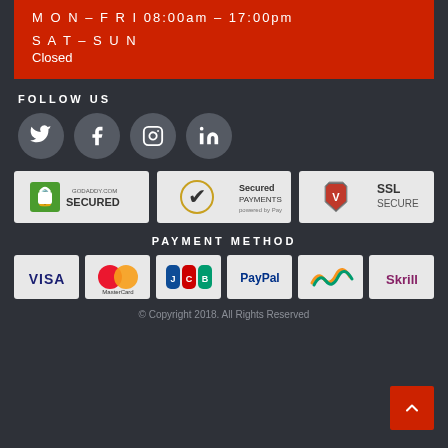MON-FRI 08:00am - 17:00pm
SAT-SUN
Closed
FOLLOW US
[Figure (infographic): Four social media icons in grey circles: Twitter, Facebook, Instagram, LinkedIn]
[Figure (infographic): Three security badges: GoDaddy.com Secured, Secured Payments powered by PayPal, SSL Secure]
PAYMENT METHOD
[Figure (infographic): Six payment method badges: Visa, MasterCard, JCB, PayPal, (wave pay symbol), Skrill]
© Copyright 2018. All Rights Reserved